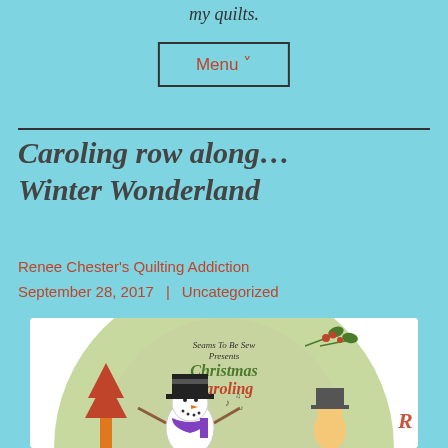my quilts.
Menu ˅
Caroling row along…Winter Wonderland
Renee Chester's Quilting Addiction
September 28, 2017   Uncategorized
[Figure (illustration): Circular logo for 'Seams To Be Sew Presents Christmas Caroling' featuring a snowman in a top hat and purple scarf singing, with holly decoration and other carolers.]